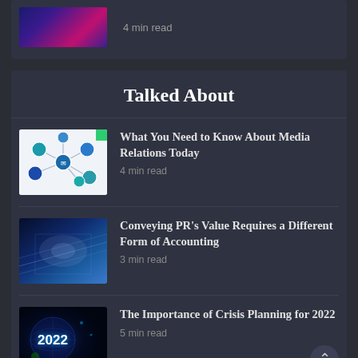4 min read
Talked About
[Figure (illustration): Network diagram with connected circular icons representing media/communication channels on white background]
What You Need to Know About Media Relations Today
4 min read
[Figure (photo): Blue-toned technology/data center corridor image]
Conveying PR's Value Requires a Different Form of Accounting
3 min read
[Figure (photo): Globe with 2022 text overlay, dark blue background with coronavirus imagery]
The Importance of Crisis Planning for 2022
5 min read